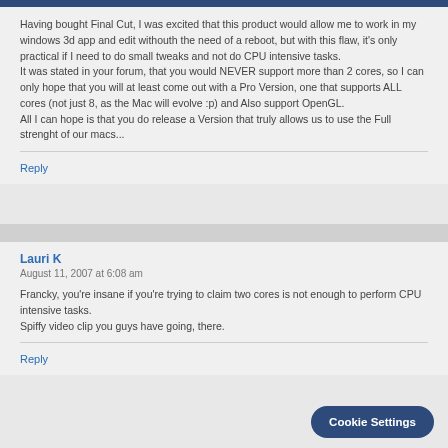Having bought Final Cut, I was excited that this product would allow me to work in my windows 3d app and edit withouth the need of a reboot, but with this flaw, it's only practical if I need to do small tweaks and not do CPU intensive tasks.
It was stated in your forum, that you would NEVER support more than 2 cores, so I can only hope that you will at least come out with a Pro Version, one that supports ALL cores (not just 8, as the Mac will evolve :p) and Also support OpenGL.
All I can hope is that you do release a Version that truly allows us to use the Full strenght of our macs...
Reply
Lauri K
August 11, 2007 at 6:08 am
Francky, you're insane if you're trying to claim two cores is not enough to perform CPU intensive tasks.
Spiffy video clip you guys have going, there.
Reply
Cookie Settings